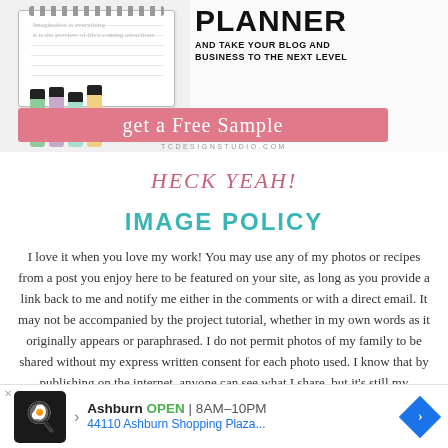[Figure (photo): Advertisement for a blog/business planner product showing a spiral notebook, colored markers, a pink 'get a Free Sample' button, and the URL tcdesignstudio.com]
HECK YEAH!
IMAGE POLICY
I love it when you love my work! You may use any of my photos or recipes from a post you enjoy here to be featured on your site, as long as you provide a link back to me and notify me either in the comments or with a direct email. It may not be accompanied by the project tutorial, whether in my own words as it originally appears or paraphrased. I do not permit photos of my family to be shared without my express written consent for each photo used. I know that by publishing on the internet, anyone can see what I share, but it's still my
[Figure (screenshot): Bottom banner advertisement: Ashburn OPEN 8AM-10PM, 44110 Ashburn Shopping Plaza... with chef icon and navigation arrow]